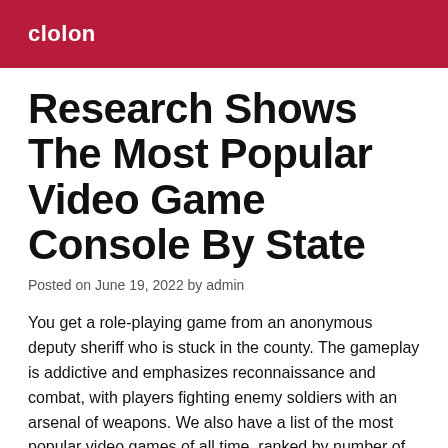clolon
Research Shows The Most Popular Video Game Console By State
Posted on June 19, 2022 by admin
You get a role-playing game from an anonymous deputy sheriff who is stuck in the county. The gameplay is addictive and emphasizes reconnaissance and combat, with players fighting enemy soldiers with an arsenal of weapons. We also have a list of the most popular video games of all time, ranked by number of sales/downloads. Millions of people still love it and great tournaments are still organized.